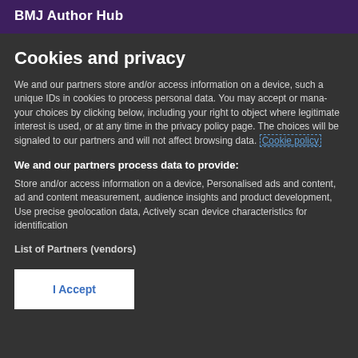BMJ Author Hub
Cookies and privacy
We and our partners store and/or access information on a device, such a unique IDs in cookies to process personal data. You may accept or manage your choices by clicking below, including your right to object where legitimate interest is used, or at any time in the privacy policy page. These choices will be signaled to our partners and will not affect browsing data. Cookie policy
We and our partners process data to provide:
Store and/or access information on a device, Personalised ads and content, ad and content measurement, audience insights and product development, Use precise geolocation data, Actively scan device characteristics for identification
List of Partners (vendors)
I Accept